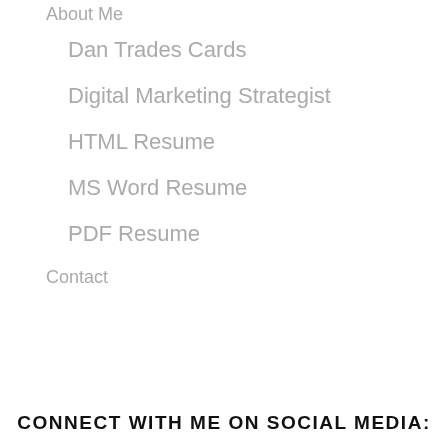About Me
Dan Trades Cards
Digital Marketing Strategist
HTML Resume
MS Word Resume
PDF Resume
Contact
CONNECT WITH ME ON SOCIAL MEDIA: